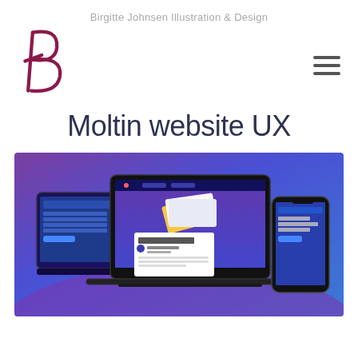Birgitte Johnsen Illustration & Design
[Figure (logo): Stylized letter B logo in dark magenta/crimson color]
Moltin website UX
[Figure (screenshot): Screenshot mockup showing Moltin website UX displayed on laptop, tablet, and mobile phone devices against a purple-blue gradient background]